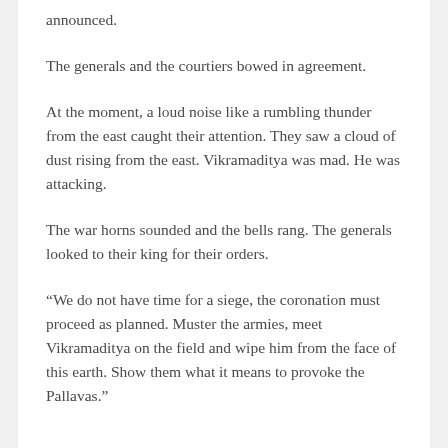announced.
The generals and the courtiers bowed in agreement.
At the moment, a loud noise like a rumbling thunder from the east caught their attention. They saw a cloud of dust rising from the east. Vikramaditya was mad. He was attacking.
The war horns sounded and the bells rang. The generals looked to their king for their orders.
“We do not have time for a siege, the coronation must proceed as planned. Muster the armies, meet Vikramaditya on the field and wipe him from the face of this earth. Show them what it means to provoke the Pallavas.”